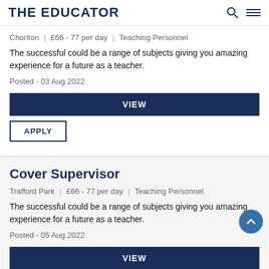THE EDUCATOR
Chorlton | £66 - 77 per day | Teaching Personnel
The successful could be a range of subjects giving you amazing experience for a future as a teacher.
Posted - 03 Aug 2022
VIEW
APPLY
Cover Supervisor
Trafford Park | £66 - 77 per day | Teaching Personnel
The successful could be a range of subjects giving you amazing experience for a future as a teacher.
Posted - 05 Aug 2022
VIEW